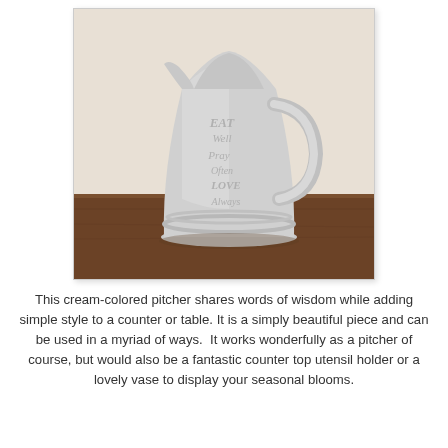[Figure (photo): A cream/light gray ceramic pitcher with embossed text reading 'Eat Well, Pray Often, Love Always' sitting on a wooden surface against a wall.]
This cream-colored pitcher shares words of wisdom while adding simple style to a counter or table. It is a simply beautiful piece and can be used in a myriad of ways.  It works wonderfully as a pitcher of course, but would also be a fantastic counter top utensil holder or a lovely vase to display your seasonal blooms.